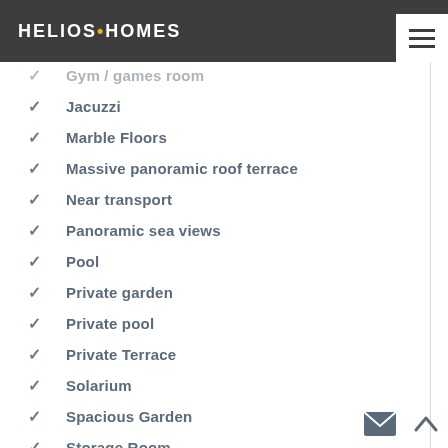HELIOS•HOMES
Gym / games room
Jacuzzi
Marble Floors
Massive panoramic roof terrace
Near transport
Panoramic sea views
Pool
Private garden
Private pool
Private Terrace
Solarium
Spacious Garden
Storage Room